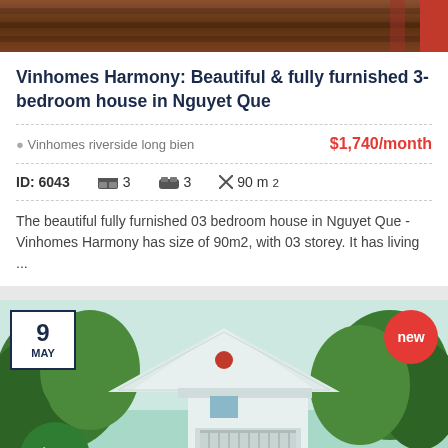[Figure (photo): Top portion of a property listing image showing wooden furniture/interior]
Vinhomes Harmony: Beautiful & fully furnished 3-bedroom house in Nguyet Que
Vinhomes riverside long bien    $1,740/month
ID: 6043   🛏 3   🛁 3   ✕ 90 m²
The beautiful fully furnished 03 bedroom house in Nguyet Que - Vinhomes Harmony has size of 90m2, with 03 storey. It has living ...
[Figure (photo): Exterior photo of a white multi-storey house surrounded by large green trees, with a date badge showing 9 MAY, a new badge, and a phone call button]